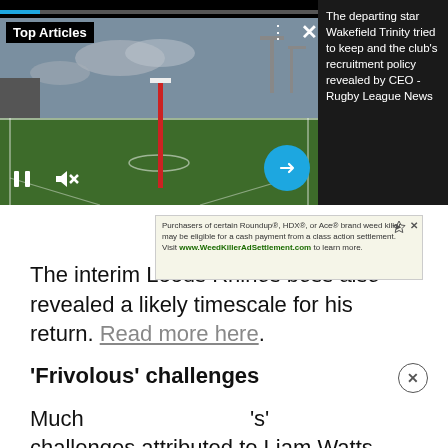[Figure (screenshot): Video player showing rugby pitch with 'Top Articles' label, pause, mute, and arrow controls. Right panel shows dark background with article text.]
The departing star Wakefield Trinity tried to keep and the club's recruitment policy revealed by CEO - Rugby League News
The interim Leeds Rhinos boss also revealed a likely timescale for his return. Read more here.
'Frivolous' challenges
Much ... 's' challenges attributed to Liam Watts, Jack Cogger's
[Figure (screenshot): Advertisement overlay: Purchasers of certain Roundup®, HDX®, or Ace® brand weed killer may be eligible for a cash payment from a class action settlement. Visit www.WeedKillerAdSettlement.com to learn more.]